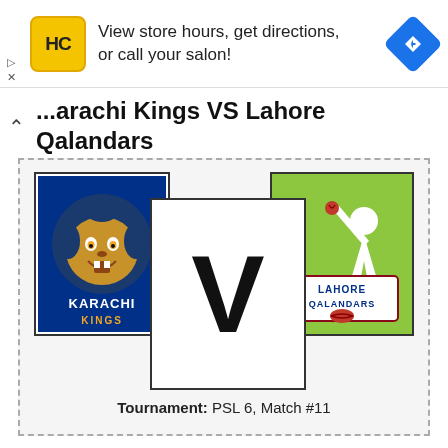[Figure (screenshot): Advertisement banner for HC (Hair Club/Salon) with yellow logo, text 'View store hours, get directions, or call your salon!' and a blue navigation diamond icon]
Karachi Kings VS Lahore Qalandars
[Figure (infographic): Match card showing Karachi Kings logo (blue lion) on left, large V in center box, and Lahore Qalandars logo (green background with cricketer) on right, inside a dashed border card]
Tournament: PSL 6, Match #11